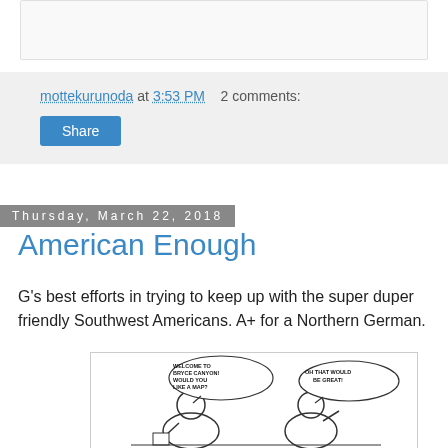mottekurunoda at 3:53 PM   2 comments:
Share
Thursday, March 22, 2018
American Enough
G's best efforts in trying to keep up with the super duper friendly Southwest Americans. A+ for a Northern German.
[Figure (illustration): Comic strip showing two people at Bryce Canyon. One person says 'WELCOME TO BRYCE CANYON! WOULD YOU LIKE A MAP?' and the other replies 'OH THAT WOULD BE GREAT!']